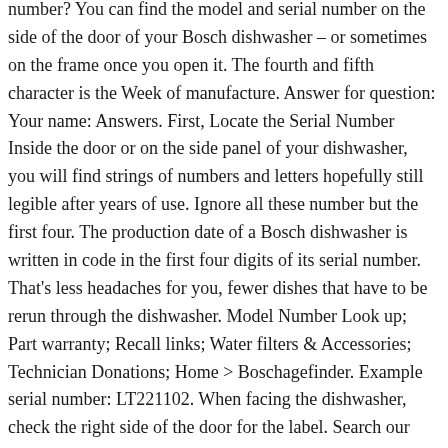number? You can find the model and serial number on the side of the door of your Bosch dishwasher – or sometimes on the frame once you open it. The fourth and fifth character is the Week of manufacture. Answer for question: Your name: Answers. First, Locate the Serial Number Inside the door or on the side panel of your dishwasher, you will find strings of numbers and letters hopefully still legible after years of use. Ignore all these number but the first four. The production date of a Bosch dishwasher is written in code in the first four digits of its serial number. That's less headaches for you, fewer dishes that have to be rerun through the dishwasher. Model Number Look up; Part warranty; Recall links; Water filters & Accessories; Technician Donations; Home > Boschagefinder. Example serial number: LT221102. When facing the dishwasher, check the right side of the door for the label. Search our Bosch dishwasher door panel list by part title and save even more time! Bosch Induction cooktops with FlexInduction® technology allow